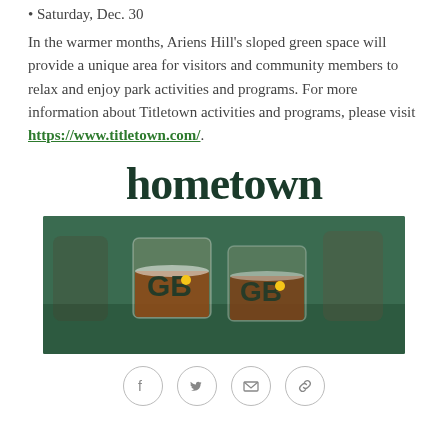• Saturday, Dec. 30
In the warmer months, Ariens Hill's sloped green space will provide a unique area for visitors and community members to relax and enjoy park activities and programs. For more information about Titletown activities and programs, please visit https://www.titletown.com/.
hometown
[Figure (photo): Two whiskey glasses with 'GB' Green Bay logo on a green surface]
[Figure (infographic): Social media sharing icons: Facebook, Twitter, Email, Link]